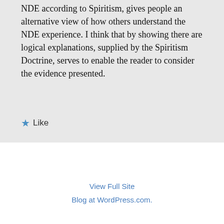NDE according to Spiritism, gives people an alternative view of how others understand the NDE experience. I think that by showing there are logical explanations, supplied by the Spiritism Doctrine, serves to enable the reader to consider the evidence presented.
★ Like
View Full Site
Blog at WordPress.com.